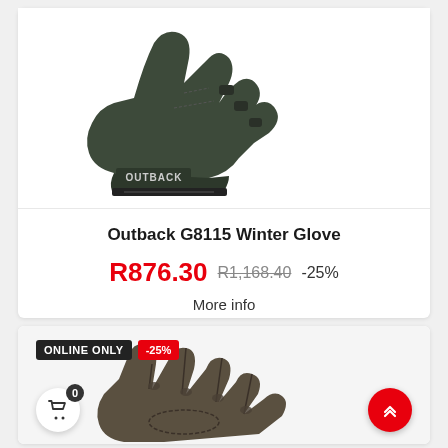[Figure (photo): Outback G8115 Winter Glove product photo — dark olive/black motorcycle glove seen from the back, showing knuckle protection and OUTBACK branding on the wrist.]
Outback G8115 Winter Glove
R876.30  R1,168.40  -25%
More info
ONLINE ONLY  -25%
[Figure (photo): Second motorcycle glove product photo — dark olive/brown leather glove shown palm-side, fingers spread, from above.]